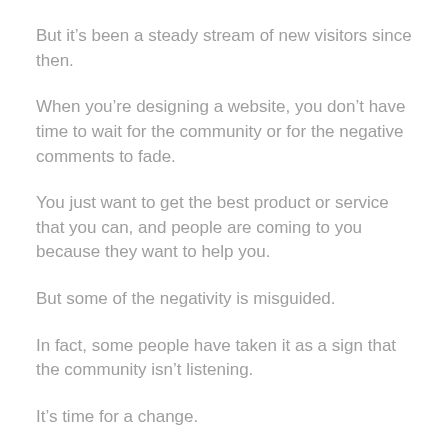But it's been a steady stream of new visitors since then.
When you're designing a website, you don't have time to wait for the community or for the negative comments to fade.
You just want to get the best product or service that you can, and people are coming to you because they want to help you.
But some of the negativity is misguided.
In fact, some people have taken it as a sign that the community isn't listening.
It's time for a change.
So why should I care?